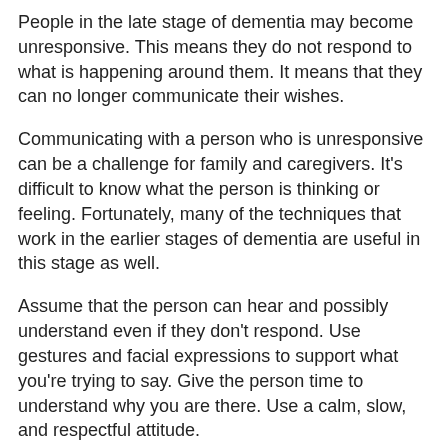People in the late stage of dementia may become unresponsive. This means they do not respond to what is happening around them. It means that they can no longer communicate their wishes.
Communicating with a person who is unresponsive can be a challenge for family and caregivers. It’s difficult to know what the person is thinking or feeling. Fortunately, many of the techniques that work in the earlier stages of dementia are useful in this stage as well.
Assume that the person can hear and possibly understand even if they don’t respond. Use gestures and facial expressions to support what you’re trying to say. Give the person time to understand why you are there. Use a calm, slow, and respectful attitude.
You can communicate concern and caring by using pillows for neck, arm, and leg support, a warm blanket, and gentle repositioning. Mild range-of-motion exercises, gentle touching, and massage are reassuring.